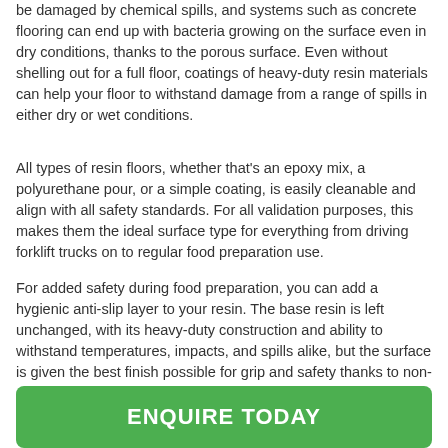be damaged by chemical spills, and systems such as concrete flooring can end up with bacteria growing on the surface even in dry conditions, thanks to the porous surface. Even without shelling out for a full floor, coatings of heavy-duty resin materials can help your floor to withstand damage from a range of spills in either dry or wet conditions.
All types of resin floors, whether that's an epoxy mix, a polyurethane pour, or a simple coating, is easily cleanable and align with all safety standards. For all validation purposes, this makes them the ideal surface type for everything from driving forklift trucks on to regular food preparation use.
For added safety during food preparation, you can add a hygienic anti-slip layer to your resin. The base resin is left unchanged, with its heavy-duty construction and ability to withstand temperatures, impacts, and spills alike, but the surface is given the best finish possible for grip and safety thanks to non-slip coatings. This helps people to stay safe even when the floor coatings get wet!
ENQUIRE TODAY